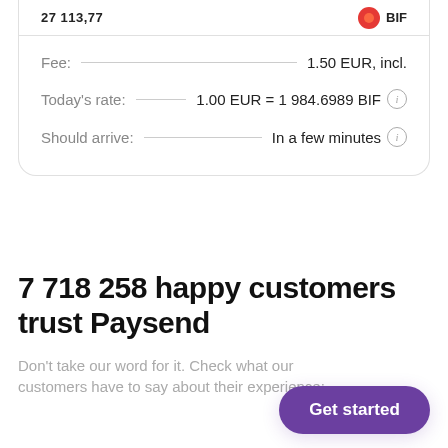Fee: 1.50 EUR, incl.
Today's rate: 1.00 EUR = 1 984.6989 BIF
Should arrive: In a few minutes
7 718 258 happy customers trust Paysend
Don't take our word for it. Check what our customers have to say about their experience:
Get started